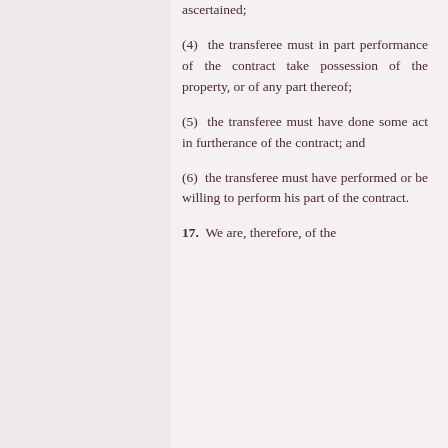ascertained;
(4) the transferee must in part performance of the contract take possession of the property, or of any part thereof;
(5) the transferee must have done some act in furtherance of the contract; and
(6) the transferee must have performed or be willing to perform his part of the contract.
17. We are, therefore, of the